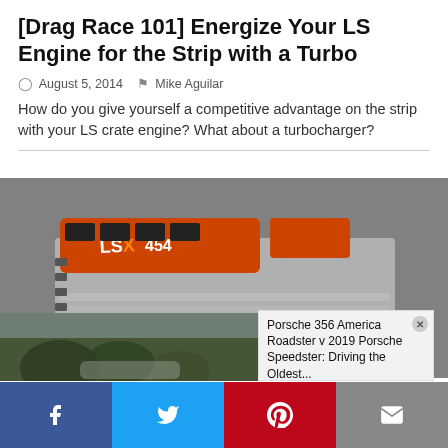[Drag Race 101] Energize Your LS Engine for the Strip with a Turbo
August 5, 2014   Mike Aguilar
How do you give yourself a competitive advantage on the strip with your LS crate engine? What about a turbocharger?
[Figure (photo): LSX 454 crate engine on display surface with orange valve covers and silver block, labeled LSX454 BIG BLOCK]
[Figure (screenshot): Video thumbnail with play button showing outdoor scene, with popup card reading: Porsche 356 America Roadster v 2019 Porsche Speedster: Driving the Oldest...]
Facebook  Twitter  Pinterest  Email social share buttons